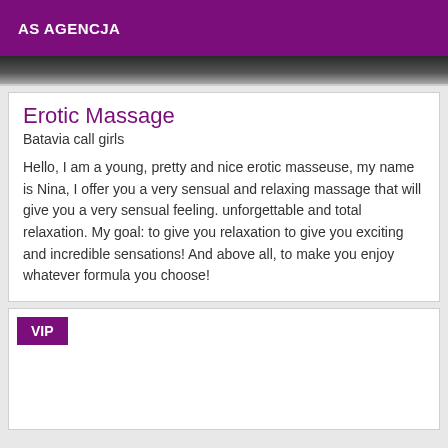AS AGENCJA
[Figure (photo): Dark greyscale photo strip at top of content area]
Erotic Massage
Batavia call girls
Hello, I am a young, pretty and nice erotic masseuse, my name is Nina, I offer you a very sensual and relaxing massage that will give you a very sensual feeling. unforgettable and total relaxation. My goal: to give you relaxation to give you exciting and incredible sensations! And above all, to make you enjoy whatever formula you choose!
VIP